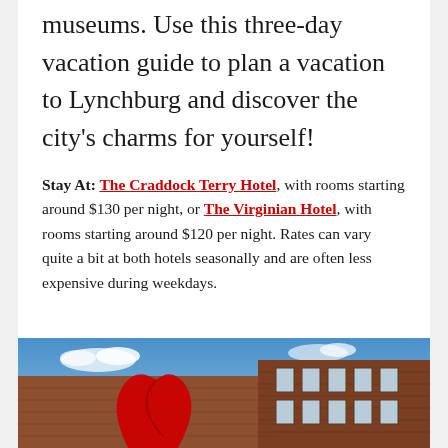museums. Use this three-day vacation guide to plan a vacation to Lynchburg and discover the city's charms for yourself!
Stay At: The Craddock Terry Hotel, with rooms starting around $130 per night, or The Virginian Hotel, with rooms starting around $120 per night. Rates can vary quite a bit at both hotels seasonally and are often less expensive during weekdays.
[Figure (photo): Photo of a brick hotel building exterior with a red sculptural element and blue sky in the background]